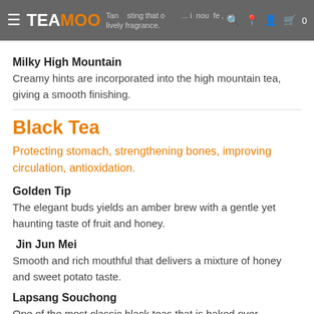TEAMOO — Tantalizing that opens. It nourishes. lively fragrance.
Milky High Mountain
Creamy hints are incorporated into the high mountain tea, giving a smooth finishing.
Black Tea
Protecting stomach, strengthening bones, improving circulation, antioxidation.
Golden Tip
The elegant buds yields an amber brew with a gentle yet haunting taste of fruit and honey.
Jin Jun Mei
Smooth and rich mouthful that delivers a mixture of honey and sweet potato taste.
Lapsang Souchong
One of the most classic black teas that is baked over...